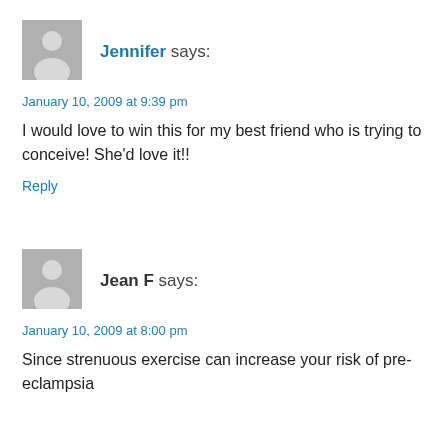[Figure (illustration): Generic user avatar silhouette on grey background for commenter Jennifer]
Jennifer says:
January 10, 2009 at 9:39 pm
I would love to win this for my best friend who is trying to conceive! She'd love it!!
Reply
[Figure (illustration): Generic user avatar silhouette on grey background for commenter Jean F]
Jean F says:
January 10, 2009 at 8:00 pm
Since strenuous exercise can increase your risk of pre-eclampsia